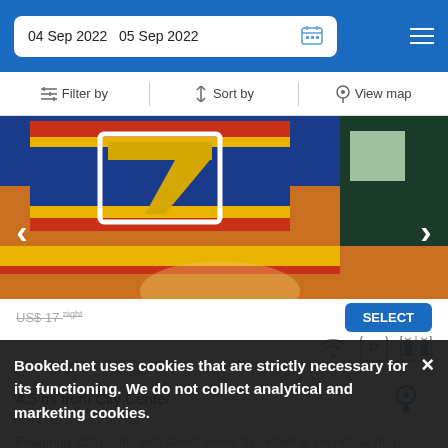04 Sep 2022  05 Sep 2022
Filter by   Sort by   View map
[Figure (photo): Hotel exterior photo showing a sign with blue background, red and yellow stripes, and the number 7 logo, with orange/yellow building facade below]
4.5 mi from City Center
Featuring 120 rooms with street views, this Hotel is set not far from Luoyang Museum.
Booked.net uses cookies that are strictly necessary for its functioning. We do not collect analytical and marketing cookies.